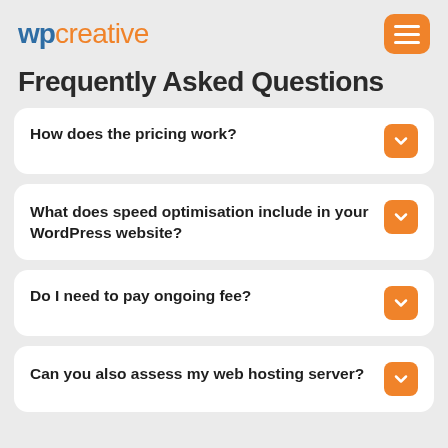wp creative
Frequently Asked Questions
How does the pricing work?
What does speed optimisation include in your WordPress website?
Do I need to pay ongoing fee?
Can you also assess my web hosting server?